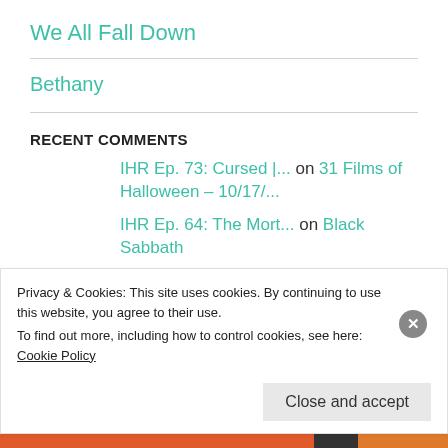We All Fall Down
Bethany
RECENT COMMENTS
IHR Ep. 73: Cursed |... on 31 Films of Halloween – 10/17/...
IHR Ep. 64: The Mort... on Black Sabbath
Feed the Devil | Mad... on 31 Films of Halloween – 10/15/...
Privacy & Cookies: This site uses cookies. By continuing to use this website, you agree to their use. To find out more, including how to control cookies, see here: Cookie Policy
Close and accept